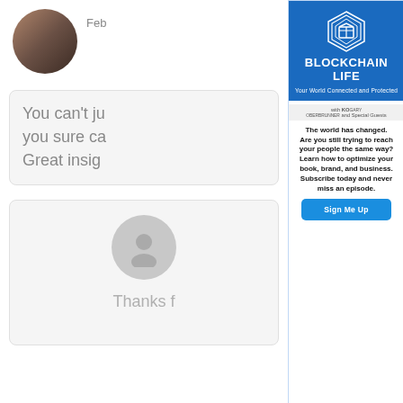[Figure (photo): Profile photo of a couple, circular avatar]
Feb
You can't ju
you sure ca
Great insig
[Figure (illustration): Gray silhouette avatar circle for anonymous user]
Thanks f
[Figure (logo): Blockchain Life podcast logo - blue background with hexagon/cube icon, title BLOCKCHAIN LIFE, subtitle Your World Connected and Protected, with KO Gary Oberbrunner and Special Guests]
The world has changed.
Are you still trying to reach your people the same way?
Learn how to optimize your book, brand, and business.
Subscribe today and never miss an episode.
Sign Me Up